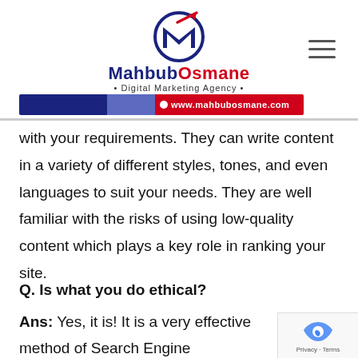[Figure (logo): MahbubOsmane Digital Marketing Agency logo with circular emblem containing M letter and red upward arrow, brand name in red and dark blue, subtitle 'Digital Marketing Agency', and url bar showing www.mahbubosmane.com]
with your requirements. They can write content in a variety of different styles, tones, and even languages to suit your needs. They are well familiar with the risks of using low-quality content which plays a key role in ranking your site.
Q. Is what you do ethical?
Ans: Yes, it is! It is a very effective method of Search Engine Optimization.